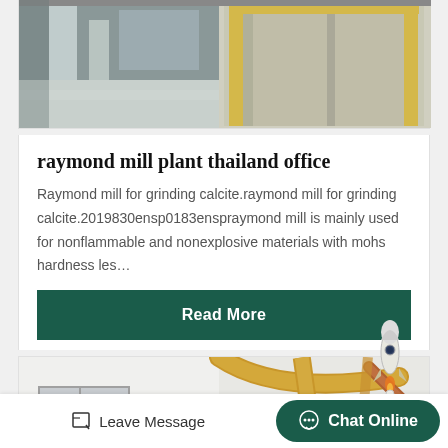[Figure (photo): Industrial building interior with concrete pillars and metal door frames with golden/yellow colored framing]
raymond mill plant thailand office
Raymond mill for grinding calcite.raymond mill for grinding calcite.2019830ensp0183enspraymond mill is mainly used for nonflammable and nonexplosive materials with mohs hardness les…
Read More
[Figure (photo): Partial view of industrial or decorative metal structures with gold/copper colored curved and straight metal beams against a white wall]
Leave Message
Chat Online